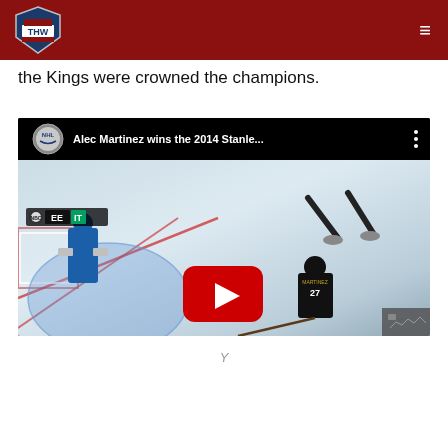THW - The Hockey Writers
the Kings were crowned the champions.
[Figure (screenshot): YouTube video thumbnail showing 'Alec Martinez wins the 2014 Stanle...' with NHL logo badge, NBC EE IT overlay, hockey rink scene with player #27 (Martinez) and a goalie, large YouTube play button in center, kebab menu icon top right, gray controls bar bottom right.]